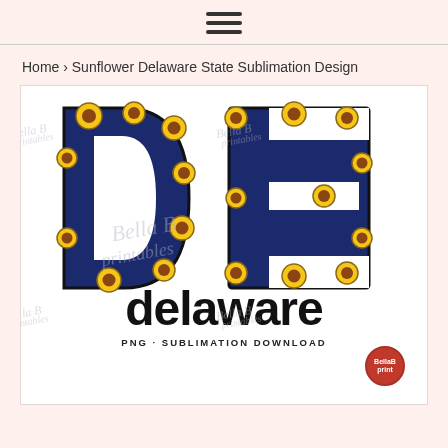[Figure (other): Hamburger menu icon (three horizontal lines)]
Home › Sunflower Delaware State Sublimation Design
[Figure (illustration): Decorative illustration of the letters 'DE' filled with a navy blue background and sunflower pattern, with the word 'delaware' in bold handwritten script below, and 'PNG - SUBLIMATION DOWNLOAD' text at the bottom. A watermark 'Bella B printables' appears faintly in the background. A round red logo badge is in the bottom right corner.]